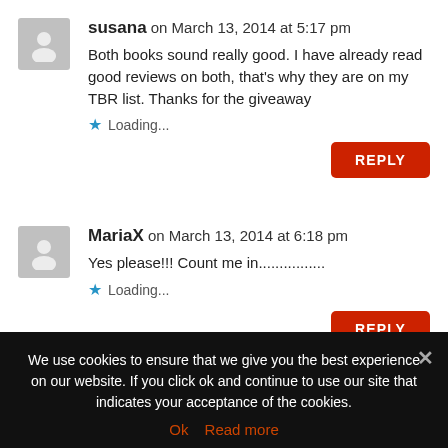susana on March 13, 2014 at 5:17 pm
Both books sound really good. I have already read good reviews on both, that's why they are on my TBR list. Thanks for the giveaway
Loading...
REPLY
MariaX on March 13, 2014 at 6:18 pm
Yes please!!! Count me in................
Loading...
REPLY
We use cookies to ensure that we give you the best experience on our website. If you click ok and continue to use our site that indicates your acceptance of the cookies.
Ok   Read more